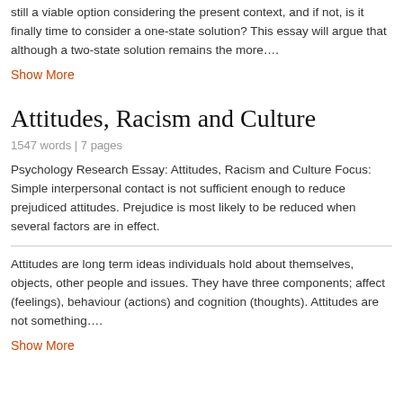still a viable option considering the present context, and if not, is it finally time to consider a one-state solution? This essay will argue that although a two-state solution remains the more….
Show More
Attitudes, Racism and Culture
1547 words | 7 pages
Psychology Research Essay: Attitudes, Racism and Culture Focus: Simple interpersonal contact is not sufficient enough to reduce prejudiced attitudes. Prejudice is most likely to be reduced when several factors are in effect.
Attitudes are long term ideas individuals hold about themselves, objects, other people and issues. They have three components; affect (feelings), behaviour (actions) and cognition (thoughts). Attitudes are not something….
Show More